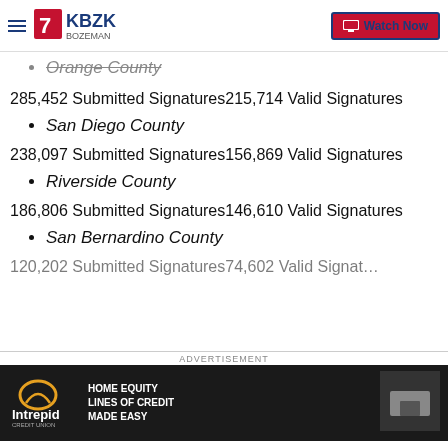KBZK Bozeman — Watch Now
Orange County
285,452 Submitted Signatures215,714 Valid Signatures
San Diego County
238,097 Submitted Signatures156,869 Valid Signatures
Riverside County
186,806 Submitted Signatures146,610 Valid Signatures
San Bernardino County
120,202 Submitted Signatures74,602 Valid Signatures
[Figure (screenshot): Advertisement banner for Intrepid Credit Union: Home Equity Lines of Credit Made Easy]